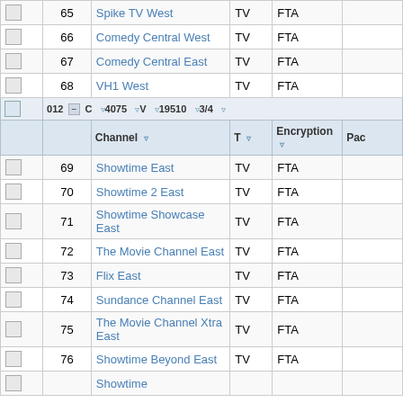|  | # | Channel | T | Encryption | Pac |
| --- | --- | --- | --- | --- | --- |
|  | 65 | Spike TV West | TV | FTA |  |
|  | 66 | Comedy Central West | TV | FTA |  |
|  | 67 | Comedy Central East | TV | FTA |  |
|  | 68 | VH1 West | TV | FTA |  |
| [filter row] 012 - C  4075  V  19510  3/4 |  |  |  |  |  |
| [header] Channel | T | Encryption | Pac |  |  |  |  |  |
|  | 69 | Showtime East | TV | FTA |  |
|  | 70 | Showtime 2 East | TV | FTA |  |
|  | 71 | Showtime Showcase East | TV | FTA |  |
|  | 72 | The Movie Channel East | TV | FTA |  |
|  | 73 | Flix East | TV | FTA |  |
|  | 74 | Sundance Channel East | TV | FTA |  |
|  | 75 | The Movie Channel Xtra East | TV | FTA |  |
|  | 76 | Showtime Beyond East | TV | FTA |  |
|  | 77 | Showtime... | TV | FTA |  |